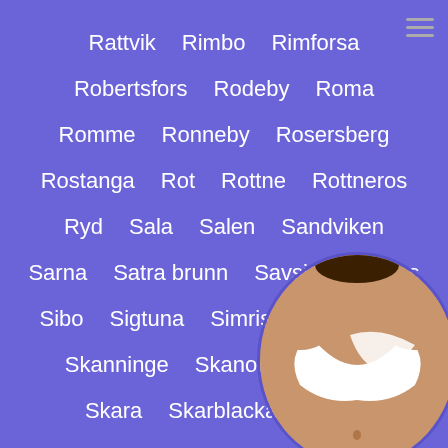Rattvik  Rimbo  Rimforsa
Robertsfors  Rodeby  Roma
Romme  Ronneby  Rosersberg
Rostanga  Rot  Rottne  Rottneros
Ryd  Sala  Salen  Sandviken
Sarna  Satra brunn  Savsjo  Saxnas
Sibo  Sigtuna  Simrishamn  Sjobo
Skanninge  Skanor med Falsterbo
Skara  Skarblacka  Skaraborg
Skebobruk  Skede  Skelleftea
[Figure (photo): Circular photo overlay of a woman in bottom-right corner, partially obscuring text]